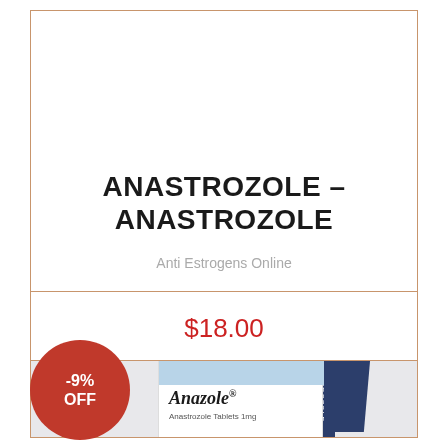ANASTROZOLE – ANASTROZOLE
Anti Estrogens Online
$18.00
[Figure (photo): Product photo of Anazole (Anastrozole) medicine box with -9% OFF discount badge. The box shows a navy blue and white pill box with 'Anazole' branding and '30 Tablets' label. A red circular badge in the upper left shows '-9% OFF'.]